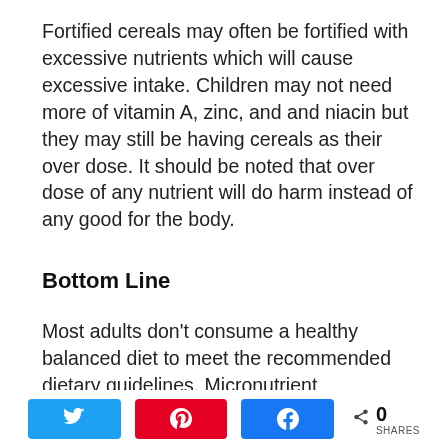Fortified cereals may often be fortified with excessive nutrients which will cause excessive intake. Children may not need more of vitamin A, zinc, and and niacin but they may still be having cereals as their over dose. It should be noted that over dose of any nutrient will do harm instead of any good for the body.
Bottom Line
Most adults don't consume a healthy balanced diet to meet the recommended dietary guidelines. Micronutrient deficiencies are common nowadays for which fortified and enriched cereals are helpful.
[Figure (infographic): Social sharing buttons: Twitter (blue), Pinterest (red), Facebook (blue), and a share count showing 0 SHARES]